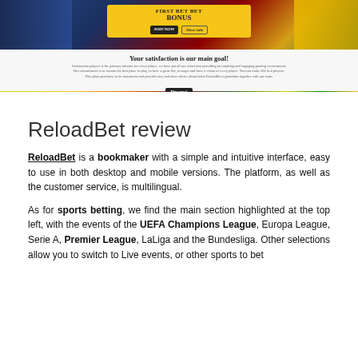[Figure (screenshot): Screenshot of ReloadBet website showing a sports betting promotional banner with 'FIRST BET BET BONUS' in yellow, player images, 'Your satisfaction is our main goal!' section, and a colorful bottom strip.]
ReloadBet review
ReloadBet is a bookmaker with a simple and intuitive interface, easy to use in both desktop and mobile versions. The platform, as well as the customer service, is multilingual.
As for sports betting, we find the main section highlighted at the top left, with the events of the UEFA Champions League, Europa League, Serie A, Premier League, LaLiga and the Bundesliga. Other selections allow you to switch to Live events, or other sports to bet